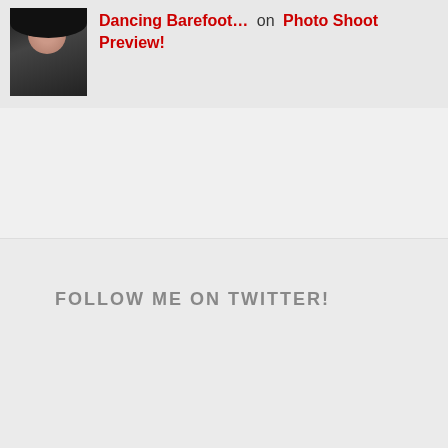Dancing Barefoot… on Photo Shoot Preview!
FOLLOW ME ON TWITTER!